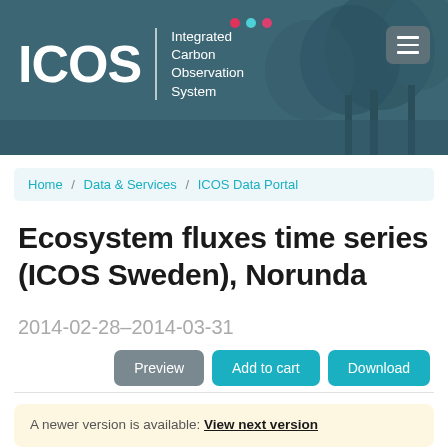[Figure (screenshot): ICOS (Integrated Carbon Observation System) website header banner with forest background image, ICOS logo with colored dots, and hamburger menu button]
Home / Data & Services / ICOS Data Portal
Ecosystem fluxes time series (ICOS Sweden), Norunda
2014-02-28–2014-03-31
Preview | Add to cart | Download
A newer version is available: View next version